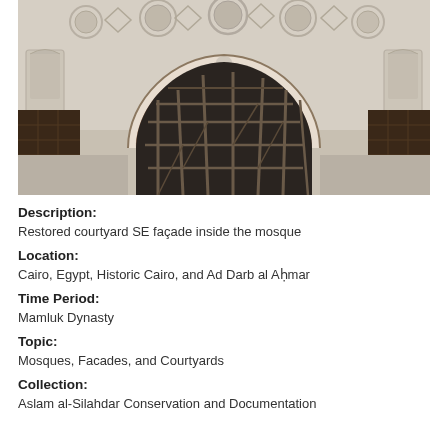[Figure (photo): Interior architectural photograph showing a restored courtyard SE façade inside a mosque. Features a large pointed arch with alternating red and white stone voussoirs (ablaq masonry), ornate stucco decorations on the wall including circular medallions and niched panels above the arch. Scaffolding is visible through the archway inside. Dark wooden screens visible on the sides.]
Description:
Restored courtyard SE façade inside the mosque
Location:
Cairo, Egypt, Historic Cairo, and Ad Darb al Aḥmar
Time Period:
Mamluk Dynasty
Topic:
Mosques, Facades, and Courtyards
Collection:
Aslam al-Silahdar Conservation and Documentation